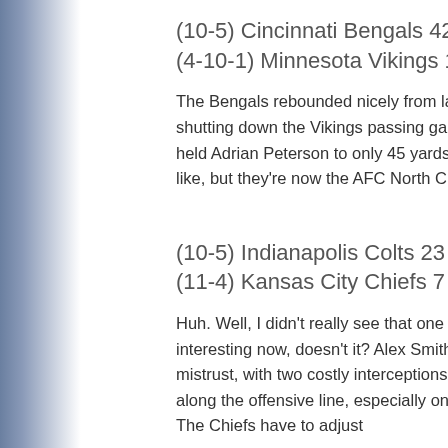(10-5) Cincinnati Bengals 42
(4-10-1) Minnesota Vikings 14
The Bengals rebounded nicely from last week's debacle, scoring 28 points in the first half and shutting down the Vikings passing game. They forced three interceptions from Matt Cassel and held Adrian Peterson to only 45 yards on the ground. Cincy may be more wounded than they'd like, but they're now the AFC North Champion and still have a shot to be the two seed.
(10-5) Indianapolis Colts 23
(11-4) Kansas City Chiefs 7
Huh. Well, I didn't really see that one coming. This potential round one match-up looks a lot more interesting now, doesn't it? Alex Smith played a lot like the Alex Smith I've come to know and mistrust, with two costly interceptions and a lack of downfield throws. KC showed some issues along the offensive line, especially on the left side, where number one pick Eric Fisher resides. The Chiefs have to adjust